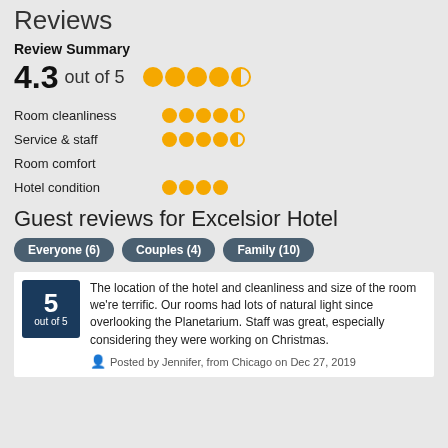Reviews
Review Summary
4.3 out of 5
Room cleanliness
Service & staff
Room comfort
Hotel condition
Guest reviews for Excelsior Hotel
Everyone (6)  Couples (4)  Family (10)
5 out of 5  The location of the hotel and cleanliness and size of the room we're terrific. Our rooms had lots of natural light since overlooking the Planetarium. Staff was great, especially considering they were working on Christmas.
Posted by Jennifer, from Chicago on Dec 27, 2019